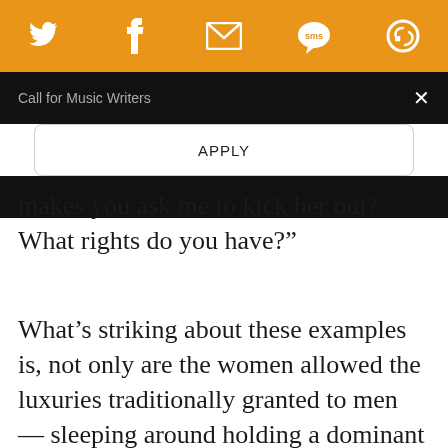[Figure (screenshot): Orange social sharing header bar with Twitter, Facebook, email, SMS, and save icons]
Call for Music Writers
APPLY
makes you ask me to kick her out? What rights do you have?”
What’s striking about these examples is, not only are the women allowed the luxuries traditionally granted to men — sleeping around holding a dominant role in a marriage — the men are given happiness while still being allowed moments of weakness and emotion.